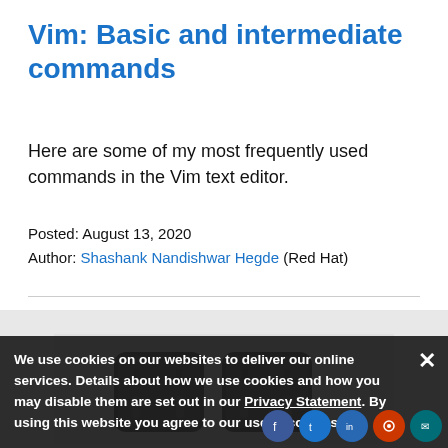Vim: Basic and intermediate commands
Here are some of my most frequently used commands in the Vim text editor.
Posted: August 13, 2020
Author: Shashank Nandishwar Hegde (Red Hat)
[Figure (photo): Photo of two black electrical plug adapters side by side on a light grey background]
We use cookies on our websites to deliver our online services. Details about how we use cookies and how you may disable them are set out in our Privacy Statement. By using this website you agree to our use of cookies.